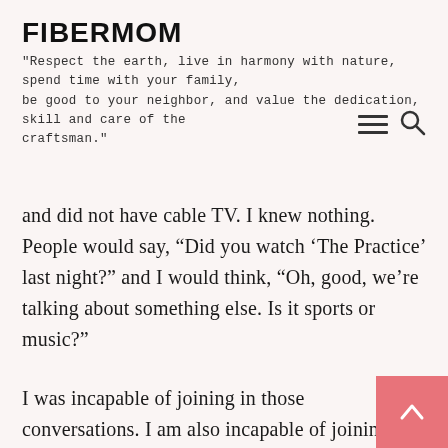FIBERMOM
"Respect the earth, live in harmony with nature, spend time with your family, be good to your neighbor, and value the dedication, skill and care of the craftsman."
and did not have cable TV. I knew nothing. People would say, “Did you watch ‘The Practice’ last night?” and I would think, “Oh, good, we’re talking about something else. Is it sports or music?”
I was incapable of joining in those conversations. I am also incapable of joining in any auto repair conversations. The only way I could honestly join the the discussion of The Holy that the man in Sunday School seemed to be trying to propagate would be by saying, “What exactly are you talking about?”